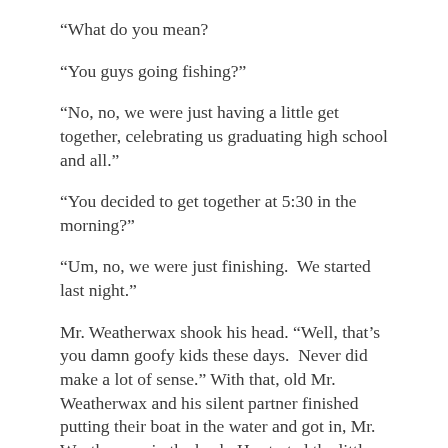“What do you mean?
“You guys going fishing?”
“No, no, we were just having a little get together, celebrating us graduating high school and all.”
“You decided to get together at 5:30 in the morning?”
“Um, no, we were just finishing.  We started last night.”
Mr. Weatherwax shook his head. “Well, that’s you damn goofy kids these days.  Never did make a lot of sense.” With that, old Mr. Weatherwax and his silent partner finished putting their boat in the water and got in, Mr. Weatherwax in the back. He started the little ten horsepower Evinrude.  It cried a high pitched whine and